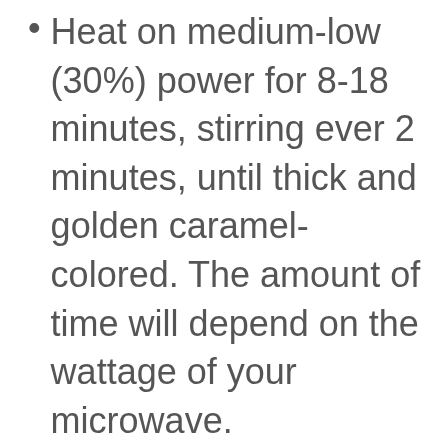Heat on medium-low (30%) power for 8-18 minutes, stirring ever 2 minutes, until thick and golden caramel-colored. The amount of time will depend on the wattage of your microwave.